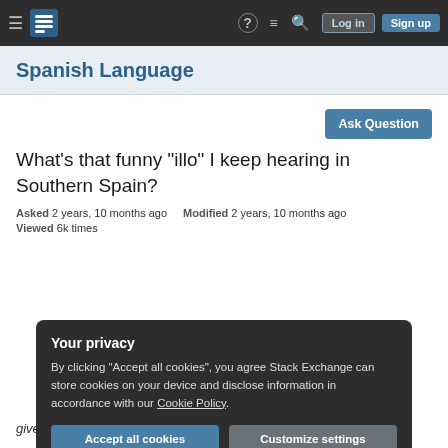≡  [Stack Exchange logo]  ?  ≡  🔍  Log in  Sign up
Spanish Language
Ask Question
What's that funny "illo" I keep hearing in Southern Spain?
Asked 2 years, 10 months ago   Modified 2 years, 10 months ago
Viewed 6k times
Your privacy
By clicking "Accept all cookies", you agree Stack Exchange can store cookies on your device and disclose information in accordance with our Cookie Policy.
Accept all cookies   Customize settings
give emphasis to a sentence. But what does that